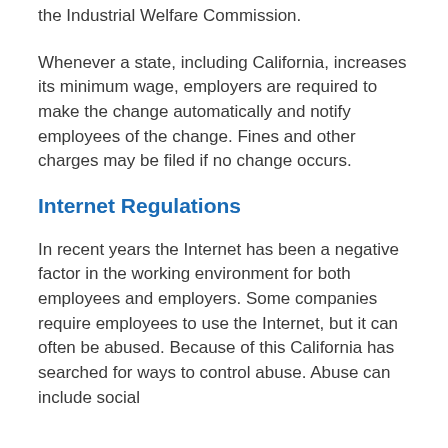the Industrial Welfare Commission.
Whenever a state, including California, increases its minimum wage, employers are required to make the change automatically and notify employees of the change. Fines and other charges may be filed if no change occurs.
Internet Regulations
In recent years the Internet has been a negative factor in the working environment for both employees and employers. Some companies require employees to use the Internet, but it can often be abused. Because of this California has searched for ways to control abuse. Abuse can include social